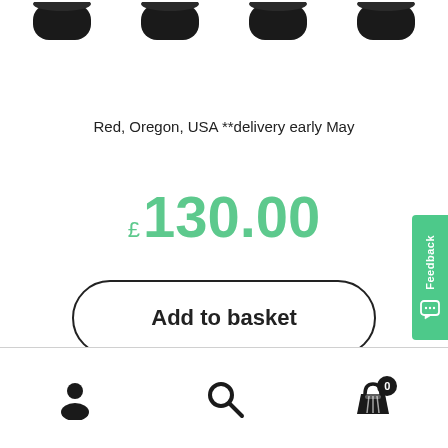[Figure (photo): Row of four dark jar product images partially cropped at top of page]
Red, Oregon, USA **delivery early May
£130.00
Add to basket
[Figure (other): Green Feedback tab on right side with chat icon]
Bottom navigation bar with account, search, and basket (0) icons